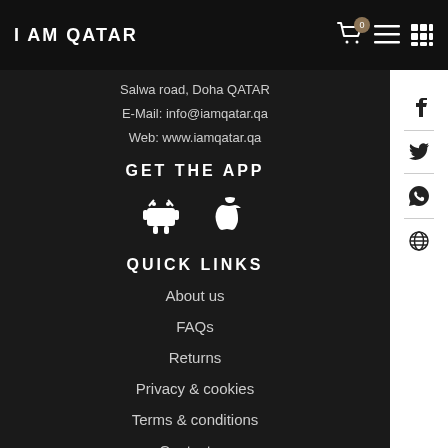I AM QATAR
Salwa road, Doha QATAR
E-Mail: info@iamqatar.qa
Web: www.iamqatar.qa
GET THE APP
[Figure (illustration): Android and Apple app store icons]
QUICK LINKS
About us
FAQs
Returns
Privacy & cookies
Terms & conditions
Contact us